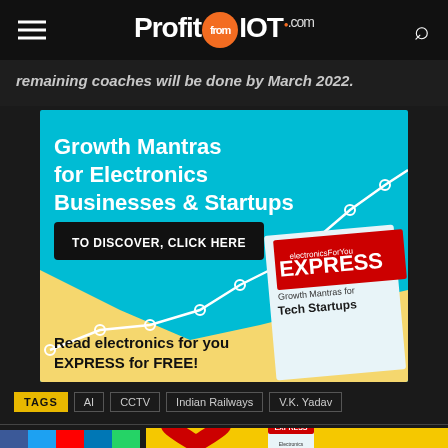ProfitfromIOT.com
remaining coaches will be done by March 2022.
[Figure (advertisement): Advertisement banner for Electronics For You EXPRESS magazine. Cyan and yellow background with growth chart line. Text: 'Growth Mantras for Electronics Businesses & Startups', button 'TO DISCOVER, CLICK HERE', 'Read electronics for you EXPRESS for FREE!' with magazine cover showing 'Growth Mantras for Tech Startups']
TAGS  AI  CCTV  Indian Railways  V.K. Yadav
[Figure (advertisement): Yellow background advertisement strip with red heart and Electronics For You EXPRESS magazine cover thumbnail]